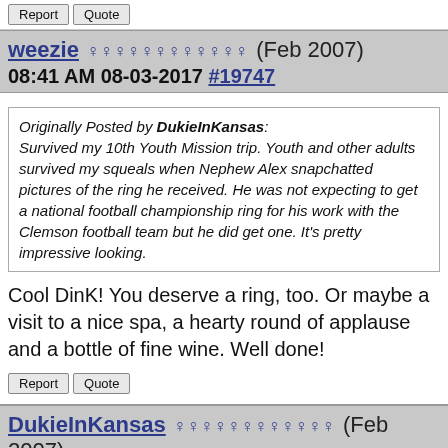Report | Quote
weezie ♀♀♀♀♀♀♀♀♀♀♀♀ (Feb 2007)
08:41 AM 08-03-2017 #19747
Originally Posted by DukieInKansas:
Survived my 10th Youth Mission trip. Youth and other adults survived my squeals when Nephew Alex snapchatted pictures of the ring he received. He was not expecting to get a national football championship ring for his work with the Clemson football team but he did get one. It's pretty impressive looking.
Cool DinK! You deserve a ring, too. Or maybe a visit to a nice spa, a hearty round of applause and a bottle of fine wine. Well done!
Report | Quote
DukieInKansas ♀♀♀♀♀♀♀♀♀♀♀♀ (Feb 2007)
10:57 AM 08-03-2017 #19748
Originally Posted by...